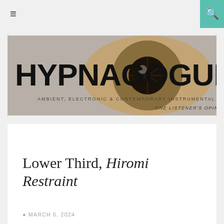≡
[Figure (logo): Hypnagogue blog header banner with large stylized text 'HYPNAGOGUE' overlaid on a close-up eye photo, subtitle 'AMBIENT, ELECTRONIC & CONTEMPORARY INSTRUMENTAL', tagline 'ONE LISTENER'S OPINION.']
Lower Third, Hiromi Restraint
Privacy & Cookies: This site uses cookies. By continuing to use this website, you agree to their use.
To find out more, including how to control cookies, see here: Cookie Policy
Close and accept